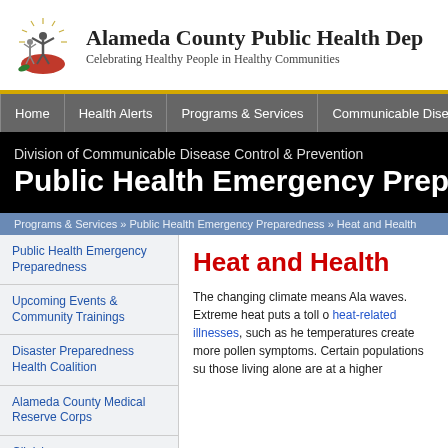[Figure (logo): Alameda County Public Health Department logo with stylized figures and red base]
Alameda County Public Health Dep
Celebrating Healthy People in Healthy Communities
Home | Health Alerts | Programs & Services | Communicable Dise
Division of Communicable Disease Control & Prevention
Public Health Emergency Prepare
Programs & Services » Public Health Emergency Preparedness » Heat and Health
Public Health Emergency Preparedness
Upcoming Events & Community Trainings
Disaster Preparedness Health Coalition
Alameda County Medical Reserve Corps
Clinicians
Heat and Health
The changing climate means Ala waves. Extreme heat puts a toll o heat-related illnesses, such as he temperatures create more pollen symptoms. Certain populations su those living alone are at a higher